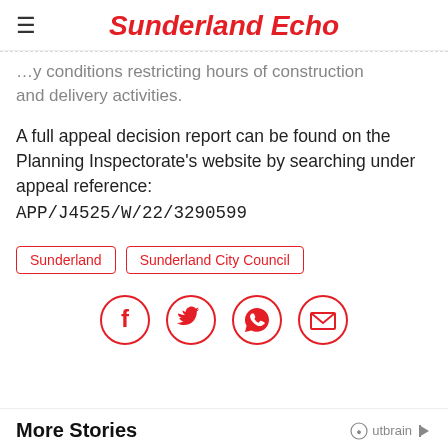Sunderland Echo
…by conditions restricting hours of construction and delivery activities.
A full appeal decision report can be found on the Planning Inspectorate's website by searching under appeal reference: APP/J4525/W/22/3290599
Sunderland
Sunderland City Council
[Figure (infographic): Social sharing icons: Facebook, Twitter, WhatsApp, Email — each in a red circle outline]
More Stories